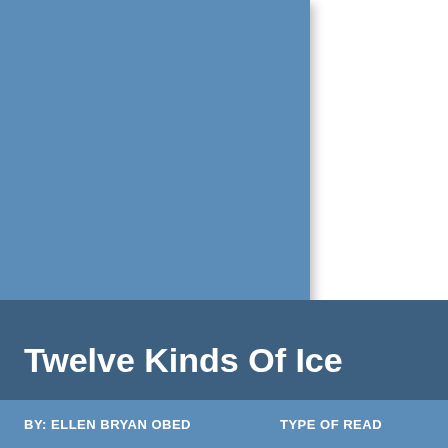[Figure (illustration): Large blue book cover image taking up upper left portion of the page, solid steel blue color with slight drop shadow]
Twelve Kinds Of Ice
BY: ELLEN BRYAN OBED
TYPE OF READ